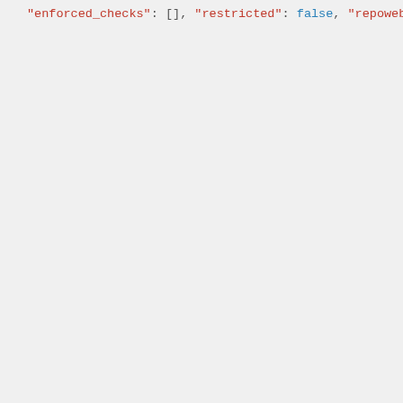JSON code block showing configuration properties including enforced_checks, restricted, repoweb, report_source_bugs, merge_style, commit_message, add_message, delete_message, merge_message, addon_message, allow_translation_propagation, manage_units, enable_suggestions, suggestion_voting, suggestion_autoaccept, push_on_commit, commit_pending_age, auto_lock_error, language_regex, variant_regex, addons, is_glossary, glossary_color